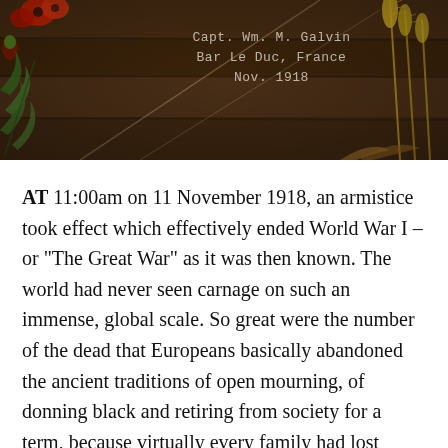[Figure (photo): A decorative photograph showing wooden planks with botanical elements (poppies, wheat stalks, green leaves) arranged around a handwritten or printed text overlay reading 'Capt. Wm. M. Galvin, Bar Le Duc, France, Nov. 1918']
AT 11:00am on 11 November 1918, an armistice took effect which effectively ended World War I – or "The Great War" as it was then known. The world had never seen carnage on such an immense, global scale. So great were the number of the dead that Europeans basically abandoned the ancient traditions of open mourning, of donning black and retiring from society for a term, because virtually every family had lost someone, and so much ritual mourning could not be sustained, neither emotionally nor economically.